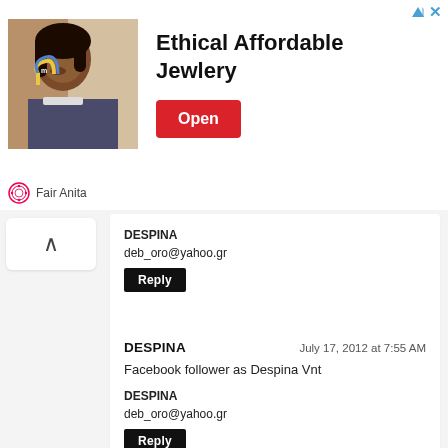[Figure (photo): Advertisement banner for Fair Anita jewelry showing a woman wearing colorful earrings with text 'Ethical Affordable Jewlery' and a red Open button]
DESPINA
deb_oro@yahoo.gr
Reply
DESPINA
July 17, 2012 at 7:55 AM
Facebook follower as Despina Vnt
DESPINA
deb_oro@yahoo.gr
Reply
DESPINA
July 17, 2012 at 7:55 AM
email subscriber of your lovely blog